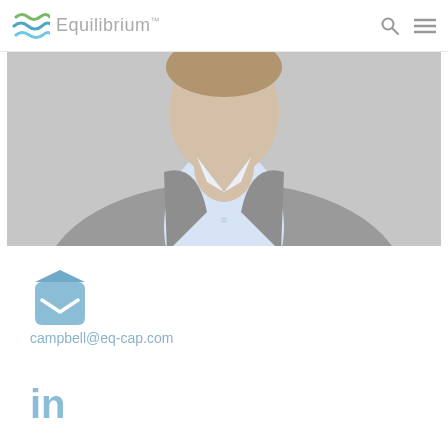Equilibrium™
[Figure (photo): Cropped professional headshot of a man in a grey blazer and light blue dress shirt, photographed from chest up against a grey background.]
[Figure (illustration): Blue envelope icon (open, with chevron flap) representing email contact.]
campbell@eq-cap.com
[Figure (logo): LinkedIn 'in' logo in light blue.]